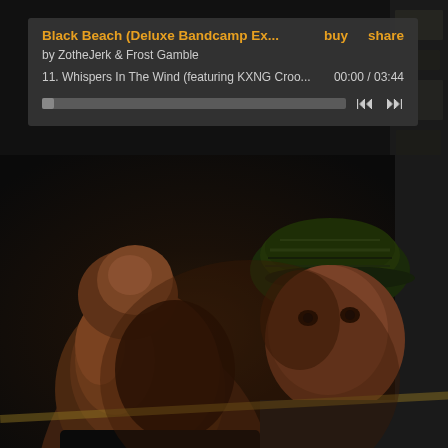[Figure (screenshot): Bandcamp music player widget showing album 'Black Beach (Deluxe Bandcamp Ex...' by ZotheJerk & Frost Gamble. Track 11: Whispers In The Wind (featuring KXNG Croo... with timestamp 00:00 / 03:44 and playback controls.]
[Figure (photo): Album cover photo showing two men's faces against a dark background. Left figure is a bald man in profile/three-quarter view wearing black clothing. Right figure wears a camouflage cap and looks directly at the camera.]